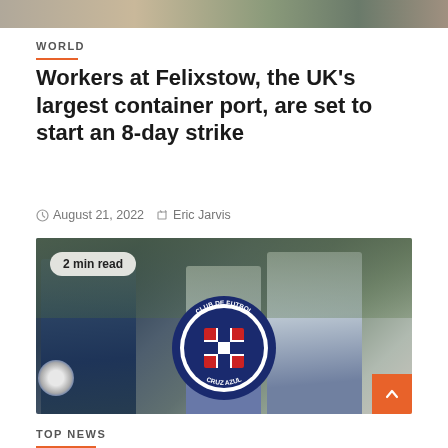[Figure (photo): Top image strip — partial photo at the top of the page]
WORLD
Workers at Felixstow, the UK's largest container port, are set to start an 8-day strike
August 21, 2022  Eric Jarvis
[Figure (photo): Photo of football coaches/staff on a training ground, with Cruz Azul (Club de Futbol Cruz Azul) logo overlaid in the center. A badge reading '2 min read' is in the upper left. An orange scroll-to-top button is in the lower right.]
TOP NEWS